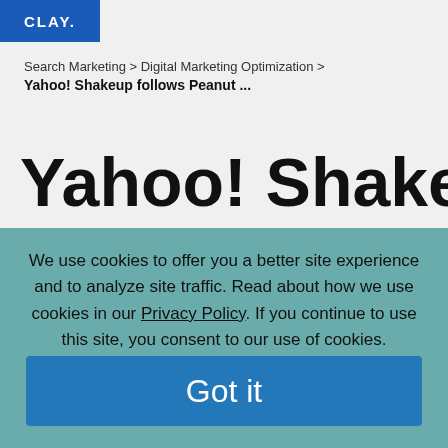[Figure (logo): CLAY logo in white text on blue background]
Search Marketing > Digital Marketing Optimization >
Yahoo! Shakeup follows Peanut ...
Yahoo! Shakeup
We use cookies to offer you a better site experience and to analyze site traffic. Read about how we use cookies in our Privacy Policy. If you continue to use this site, you consent to our use of cookies.
Got it